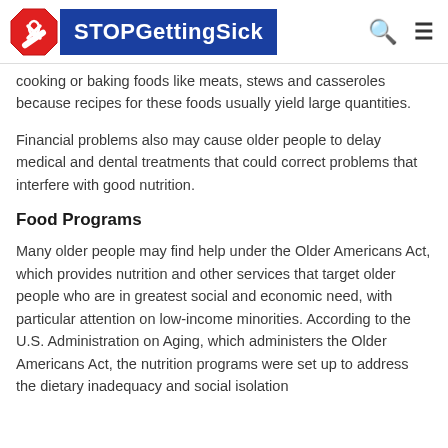STOPGettingSick
cooking or baking foods like meats, stews and casseroles because recipes for these foods usually yield large quantities.
Financial problems also may cause older people to delay medical and dental treatments that could correct problems that interfere with good nutrition.
Food Programs
Many older people may find help under the Older Americans Act, which provides nutrition and other services that target older people who are in greatest social and economic need, with particular attention on low-income minorities. According to the U.S. Administration on Aging, which administers the Older Americans Act, the nutrition programs were set up to address the dietary inadequacy and social isolation